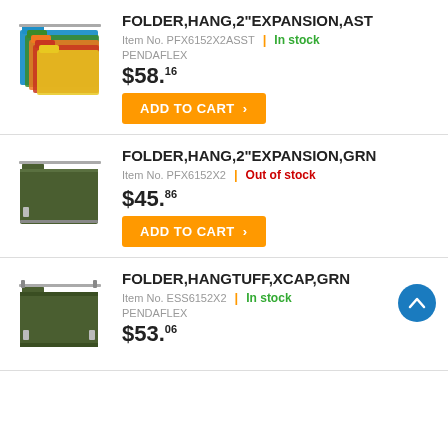[Figure (photo): Colorful hanging file folders (blue, green, orange, red, yellow) stacked]
FOLDER,HANG,2"EXPANSION,AST
Item No. PFX6152X2ASST | In stock
PENDAFLEX
$58.16
ADD TO CART
[Figure (photo): Green hanging file folder]
FOLDER,HANG,2"EXPANSION,GRN
Item No. PFX6152X2 | Out of stock
$45.86
ADD TO CART
[Figure (photo): Green hanging tough file folder]
FOLDER,HANGTUFF,XCAP,GRN
Item No. ESS6152X2 | In stock
PENDAFLEX
$53.06